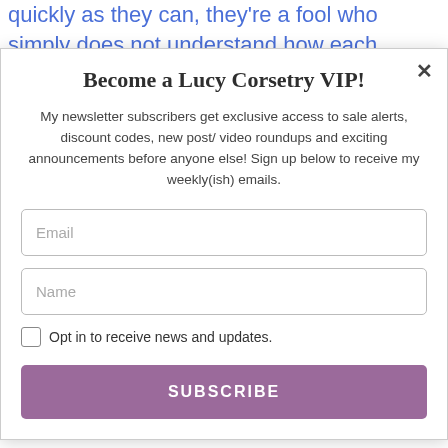quickly as they can, they're a fool who simply does not understand how each human body is built differently and has different limits. If you really want to try corseting but even 1 inch waist reduction feels uncomfortable for you ...
Become a Lucy Corsetry VIP!
My newsletter subscribers get exclusive access to sale alerts, discount codes, new post/ video roundups and exciting announcements before anyone else! Sign up below to receive my weekly(ish) emails.
Email
Name
Opt in to receive news and updates.
SUBSCRIBE